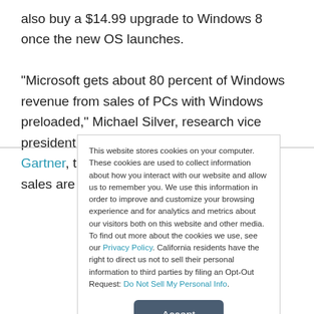also buy a $14.99 upgrade to Windows 8 once the new OS launches.
“Microsoft gets about 80 percent of Windows revenue from sales of PCs with Windows preloaded,” Michael Silver, research vice president and distinguished analyst at Gartner, told the E-Commerce Times. “If PC sales are down, Windows
This website stores cookies on your computer. These cookies are used to collect information about how you interact with our website and allow us to remember you. We use this information in order to improve and customize your browsing experience and for analytics and metrics about our visitors both on this website and other media. To find out more about the cookies we use, see our Privacy Policy. California residents have the right to direct us not to sell their personal information to third parties by filing an Opt-Out Request: Do Not Sell My Personal Info.